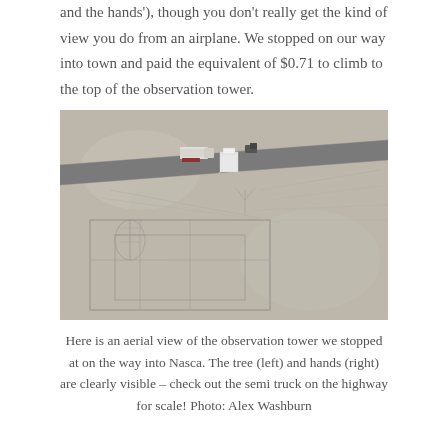and the hands'), though you don't really get the kind of view you do from an airplane. We stopped on our way into town and paid the equivalent of $0.71 to climb to the top of the observation tower.
[Figure (photo): Aerial view of the Nasca observation tower area showing the highway with a semi truck, and the Nasca Lines including the tree (left) and hands (right) geoglyphs visible on the desert plain.]
Here is an aerial view of the observation tower we stopped at on the way into Nasca. The tree (left) and hands (right) are clearly visible – check out the semi truck on the highway for scale! Photo: Alex Washburn